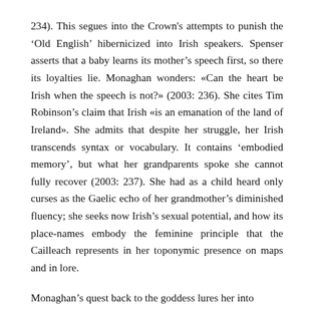234). This segues into the Crown's attempts to punish the 'Old English' hibernicized into Irish speakers. Spenser asserts that a baby learns its mother's speech first, so there its loyalties lie. Monaghan wonders: «Can the heart be Irish when the speech is not?» (2003: 236). She cites Tim Robinson's claim that Irish «is an emanation of the land of Ireland». She admits that despite her struggle, her Irish transcends syntax or vocabulary. It contains 'embodied memory', but what her grandparents spoke she cannot fully recover (2003: 237). She had as a child heard only curses as the Gaelic echo of her grandmother's diminished fluency; she seeks now Irish's sexual potential, and how its place-names embody the feminine principle that the Cailleach represents in her toponymic presence on maps and in lore.
Monaghan's quest back to the goddess lures her into